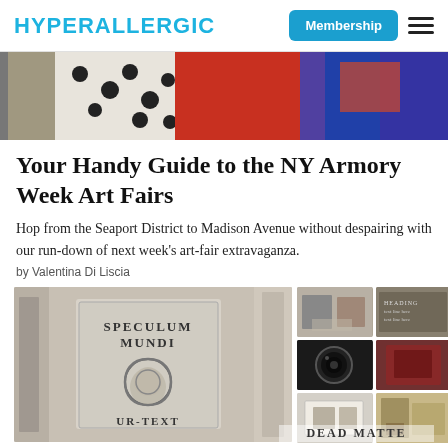HYPERALLERGIC | Membership | ≡
[Figure (photo): Colorful mural with figures, polka-dot fabric, bold reds, blues, and purples — cropped top portion of hero image]
Your Handy Guide to the NY Armory Week Art Fairs
Hop from the Seaport District to Madison Avenue without despairing with our run-down of next week's art-fair extravaganza.
by Valentina Di Liscia
[Figure (photo): Large photo of a book spine and cover labeled 'SPECULUM MUNDI UR-TEXT' with a snake/ouroboros emblem; right side shows a 3x2 grid of smaller thumbnail photos including camera lens, books, prints, and a box with objects]